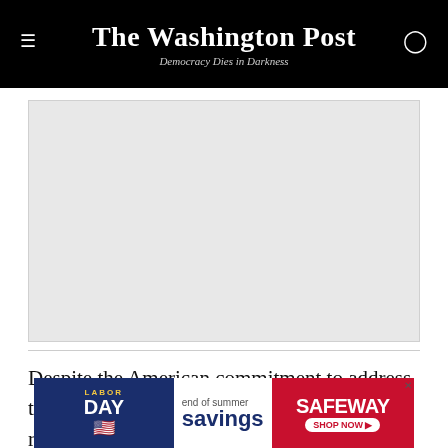The Washington Post — Democracy Dies in Darkness
[Figure (other): Advertisement placeholder banner (gray rectangle)]
Despite the American commitment to address the HIV/AIDS epidemic, conspiracy theories remain. A quick search on the Internet will reveal numerous websites that assert that AIDS was, in fact, a biological weapon created at Fort Detrick. Although the Soviet Union no longer exists, its propaganda remains, as
[Figure (other): Safeway advertisement banner: Labor Day end of summer savings, Safeway Shop Now]